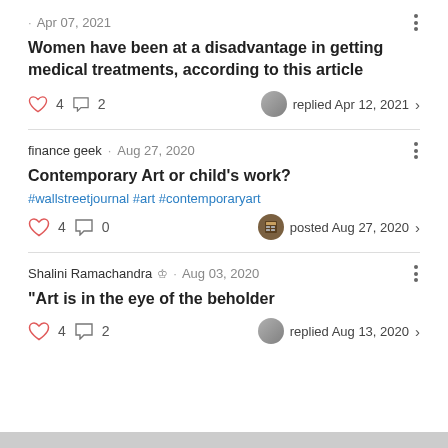· Apr 07, 2021
Women have been at a disadvantage in getting medical treatments, according to this article
4 likes, 2 comments, replied Apr 12, 2021
finance geek · Aug 27, 2020
Contemporary Art or child's work?
#wallstreetjournal #art #contemporaryart
4 likes, 0 comments, posted Aug 27, 2020
Shalini Ramachandra 👑 · Aug 03, 2020
"Art is in the eye of the beholder
4 likes, 2 comments, replied Aug 13, 2020